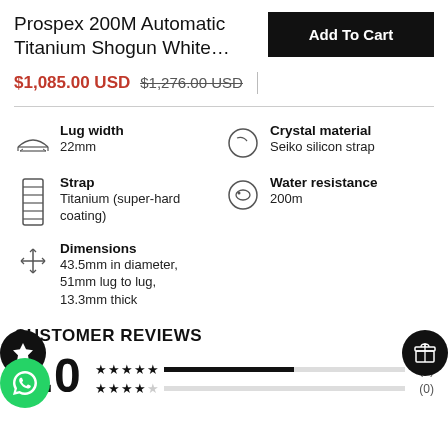Prospex 200M Automatic Titanium Shogun White…
$1,085.00 USD $1,276.00 USD
Lug width
22mm
Crystal material
Seiko silicon strap
Strap
Titanium (super-hard coating)
Water resistance
200m
Dimensions
43.5mm in diameter, 51mm lug to lug, 13.3mm thick
CUSTOMER REVIEWS
5.0
★★★★★ (5)
★★★★☆ (0)